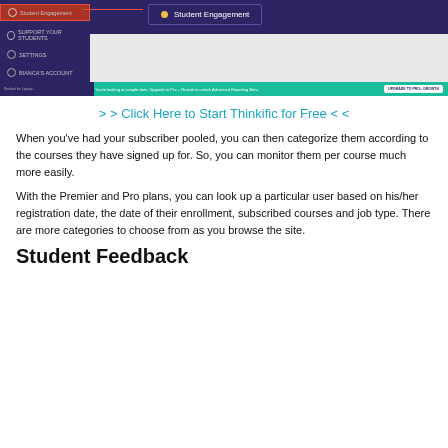[Figure (screenshot): Screenshot of Thinkific dashboard showing Student Engagement section in sidebar with purple navigation menu, a popup tooltip for Student Engagement, and an upgrade bar at the bottom in teal.]
> > Click Here to Start Thinkific for Free < <
When you've had your subscriber pooled, you can then categorize them according to the courses they have signed up for. So, you can monitor them per course much more easily.
With the Premier and Pro plans, you can look up a particular user based on his/her registration date, the date of their enrollment, subscribed courses and job type. There are more categories to choose from as you browse the site.
Student Feedback